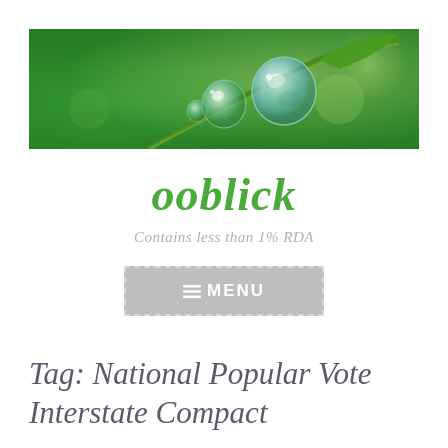[Figure (photo): Close-up photo of water droplets on a green plant stem against a blurred green background]
ooblick
Contains less than 1% RDA
≡ MENU
Tag: National Popular Vote Interstate Compact